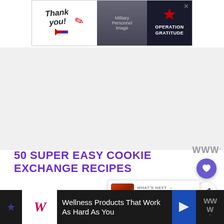[Figure (screenshot): Advertisement banner at top: 'Thank you!' with military imagery and Operation Gratitude logo]
[Figure (screenshot): Large gray/white empty advertisement space below the top banner]
[Figure (screenshot): Sidebar WW degree icon, heart save button (purple), and share button]
50 SUPER EASY COOKIE EXCHANGE RECIPES
[Figure (screenshot): What's Next card showing 'Best Cookie Exchange...' thumbnail]
We thought we would bring a ton of tried and true recipes to you from fellow food b
[Figure (screenshot): Bottom advertisement bar: Walgreens 'Wellness Products That Work As Hard As You' with navigation arrow icon]